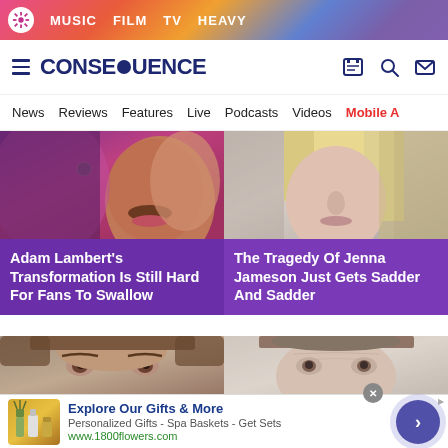MUSIC  FILM  TV  HEAVY
[Figure (screenshot): Consequence of Sound website logo and navigation header with hamburger menu, site logo CONSEQUENCE, icons for shop, search, and email]
News  Reviews  Features  Live  Podcasts  Videos  Mobile A
[Figure (photo): Close-up photo of Adam Lambert's face, lower portion showing mustache and lips against purple/pink background]
Adam Lambert's Transformation Is Still Hard For Fans To Swallow
[Figure (photo): Close-up photo of Jenna Jameson's face, blonde hair, neutral expression]
The Tragedy Of Jenna Jameson Just Gets Sadder And Sadder
[Figure (photo): Close-up photo of a man's eyes and forehead, brown hair]
[Figure (photo): Close-up photo of a man's face, brown hair, light background]
Explore Our Gifts & More
Personalized Gifts - Spa Baskets - Get Sets
www.1800flowers.com